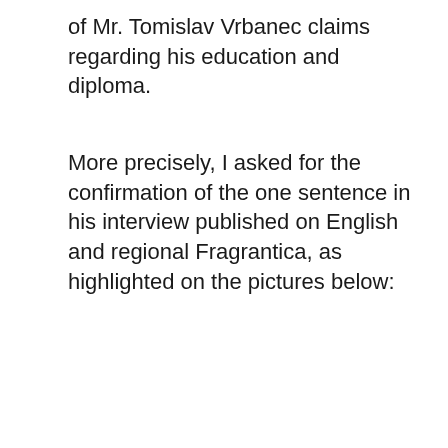of Mr. Tomislav Vrbanec claims regarding his education and diploma.
More precisely, I asked for the confirmation of the one sentence in his interview published on English and regional Fragrantica, as highlighted on the pictures below: